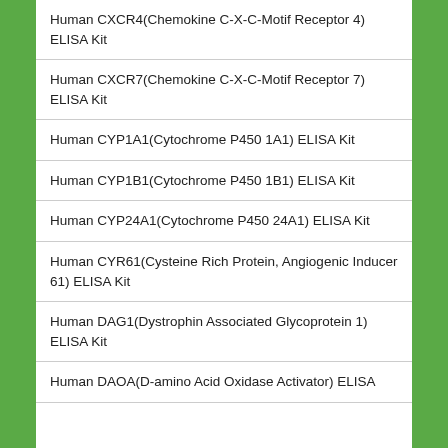Human CXCR4(Chemokine C-X-C-Motif Receptor 4) ELISA Kit
Human CXCR7(Chemokine C-X-C-Motif Receptor 7) ELISA Kit
Human CYP1A1(Cytochrome P450 1A1) ELISA Kit
Human CYP1B1(Cytochrome P450 1B1) ELISA Kit
Human CYP24A1(Cytochrome P450 24A1) ELISA Kit
Human CYR61(Cysteine Rich Protein, Angiogenic Inducer 61) ELISA Kit
Human DAG1(Dystrophin Associated Glycoprotein 1) ELISA Kit
Human DAOA(D-amino Acid Oxidase Activator) ELISA